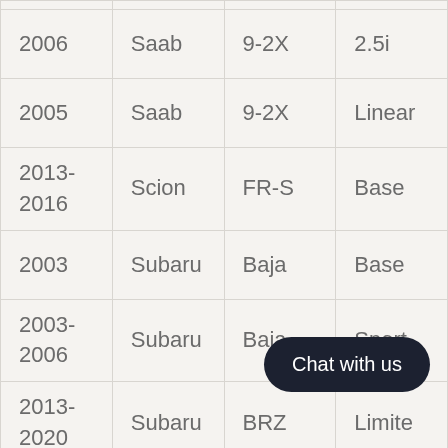| Year | Make | Model | Trim |
| --- | --- | --- | --- |
| 2006 | Saab | 9-2X | 2.5i |
| 2005 | Saab | 9-2X | Linear |
| 2013-2016 | Scion | FR-S | Base |
| 2003 | Subaru | Baja | Base |
| 2003-2006 | Subaru | Baja | Sport |
| 2013-2020 | Subaru | BRZ | Limite... |
| 2013-... | ... | ... | Premiu... |